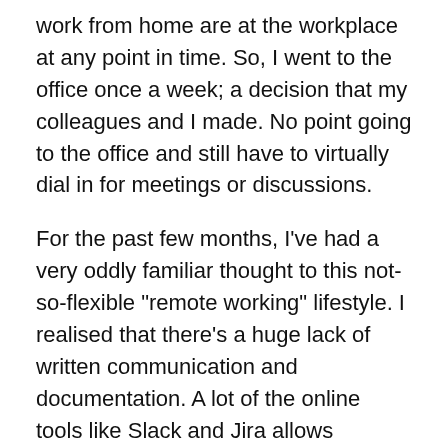work from home are at the workplace at any point in time. So, I went to the office once a week; a decision that my colleagues and I made. No point going to the office and still have to virtually dial in for meetings or discussions.
For the past few months, I've had a very oddly familiar thought to this not-so-flexible "remote working" lifestyle. I realised that there's a huge lack of written communication and documentation. A lot of the online tools like Slack and Jira allows commenting and threads, which can facilitate tasks around, though not many people actually fully utilise them. There are simple things that I thought that everyone should know, like writing a good pull request or bug report, writing useful comments in code, keeping track of tasks, proactively tag folks when discussing certain topics, keeping track of any changes or decisions made, writing down meeting notes, keeping meetings short and on-topic, use